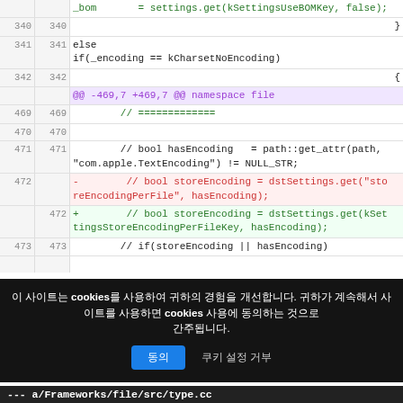| ln-old | ln-new | code |
| --- | --- | --- |
|  |  | _bom       = settings.get(kSettingsUseBOMKey, false); |
| 340 | 340 | } |
| 341 | 341 | else
  if(_encoding == kCharsetNoEncoding) |
| 342 | 342 | { |
|  |  | @@ -469,7 +469,7 @@ namespace file |
| 469 | 469 |         // ============= |
| 470 | 470 |  |
| 471 | 471 |         // bool hasEncoding   = path::get_attr(path, "com.apple.TextEncoding") != NULL_STR; |
| 472 |  | -        // bool storeEncoding = dstSettings.get("storeEncodingPerFile", hasEncoding); |
|  | 472 | +        // bool storeEncoding = dstSettings.get(kSettingsStoreEncodingPerFileKey, hasEncoding); |
| 473 | 473 |         // if(storeEncoding || hasEncoding) |
이 사이트는 cookies를 사용하여 귀하의 경험을 개선합니다. 귀하가 계속해서 사이트를 사용하면 cookies 사용에 동의하는 것으로 간주됩니다.
--- a/Frameworks/file/src/type.cc